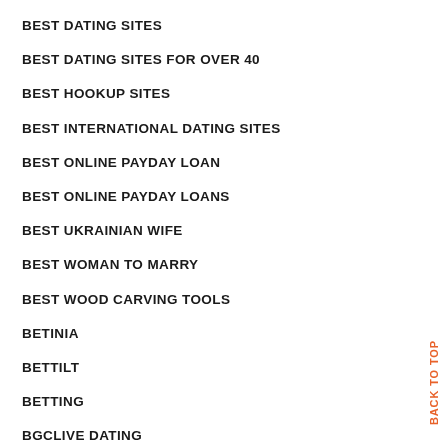BEST DATING SITES
BEST DATING SITES FOR OVER 40
BEST HOOKUP SITES
BEST INTERNATIONAL DATING SITES
BEST ONLINE PAYDAY LOAN
BEST ONLINE PAYDAY LOANS
BEST UKRAINIAN WIFE
BEST WOMAN TO MARRY
BEST WOOD CARVING TOOLS
BETINIA
BETTILT
BETTING
BGCLIVE DATING
BACK TO TOP